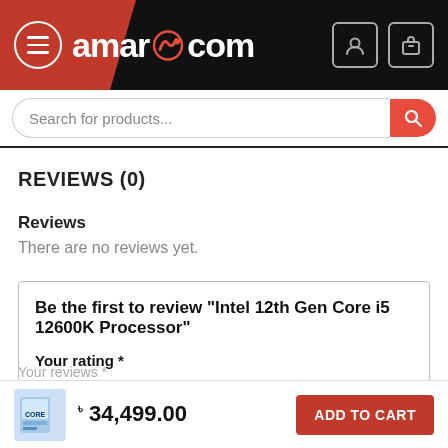amarpc.com
REVIEWS (0)
Reviews
There are no reviews yet.
Be the first to review “Intel 12th Gen Core i5 12600K Processor”
Your rating *
৳ 34,499.00
ADD TO CART